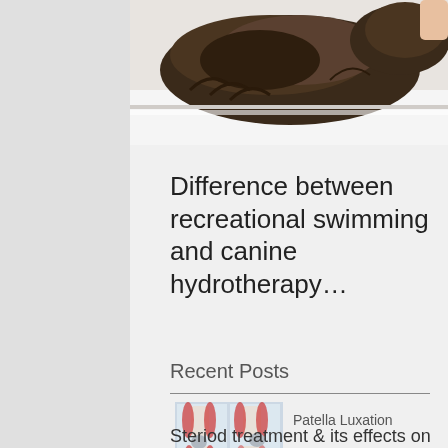[Figure (photo): A shaggy dark brown dog lying on a white surface, viewed from behind/side]
Difference between recreational swimming and canine hydrotherapy…
Recent Posts
[Figure (illustration): Two side-by-side anatomical diagrams of a knee joint (patella luxation), showing muscles and bones with red and gray highlights, with small caption text below]
Patella Luxation
Steriod treatment & its effects on